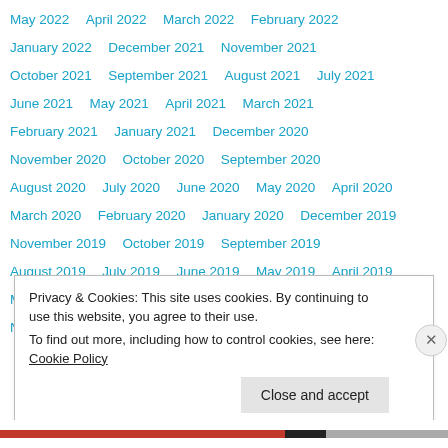May 2022   April 2022   March 2022   February 2022
January 2022   December 2021   November 2021
October 2021   September 2021   August 2021   July 2021
June 2021   May 2021   April 2021   March 2021
February 2021   January 2021   December 2020
November 2020   October 2020   September 2020
August 2020   July 2020   June 2020   May 2020   April 2020
March 2020   February 2020   January 2020   December 2019
November 2019   October 2019   September 2019
August 2019   July 2019   June 2019   May 2019   April 2019
March 2019   February 2019   January 2019   December 2018
November 2018   October 2018   September 2018
Privacy & Cookies: This site uses cookies. By continuing to use this website, you agree to their use.
To find out more, including how to control cookies, see here: Cookie Policy
Close and accept